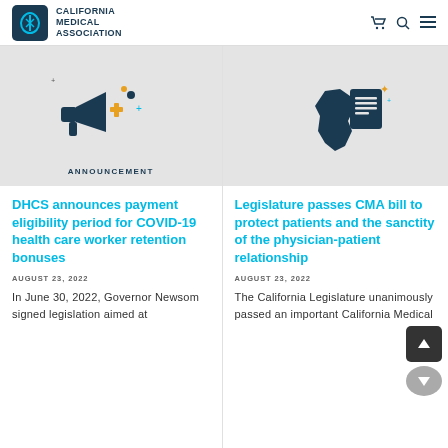CALIFORNIA MEDICAL ASSOCIATION
[Figure (illustration): Megaphone with medical cross icon on grey background with ANNOUNCEMENT label]
[Figure (illustration): California state shape with document/lines icon on grey background]
ANNOUNCEMENT
DHCS announces payment eligibility period for COVID-19 health care worker retention bonuses
AUGUST 23, 2022
In June 30, 2022, Governor Newsom signed legislation aimed at
Legislature passes CMA bill to protect patients and the sanctity of the physician-patient relationship
AUGUST 23, 2022
The California Legislature unanimously passed an important California Medical